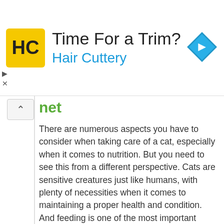[Figure (advertisement): Hair Cuttery ad banner with yellow HC logo, 'Time For a Trim?' heading, 'Hair Cuttery' subtitle in blue, and a blue diamond arrow icon on the right]
net
There are numerous aspects you have to consider when taking care of a cat, especially when it comes to nutrition. But you need to see this from a different perspective. Cats are sensitive creatures just like humans, with plenty of necessities when it comes to maintaining a proper health and condition. And feeding is one of the most important aspects that affect their overall well-being. For more information please visit our website at www.animalshelter.org
Removing Pet Urine Smell
The unexpected may happen and it is very possible that you will find a yellow spot on the floor or on your favorite carpet in the living room. The author of this will be your loving pet. And now what? How do you clean up the mess and how do you teach your pet to do